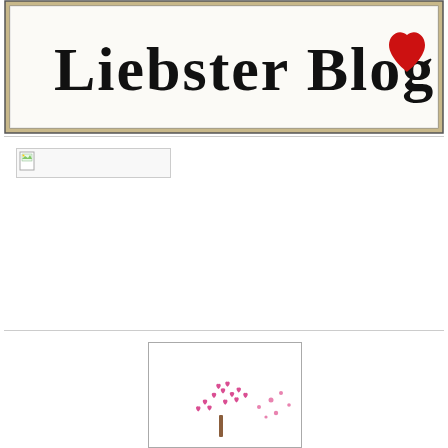[Figure (illustration): Liebster Blog award image — a framed sign with handwritten-style text 'Liebster Blog' and a red heart icon on a distressed white background with a dark border]
[Figure (illustration): Broken/missing image placeholder — a small document icon followed by a horizontal line, indicating an image that failed to load]
[Figure (illustration): A framed image showing a pink/magenta tree made of small heart shapes, partially visible at the bottom of the page]